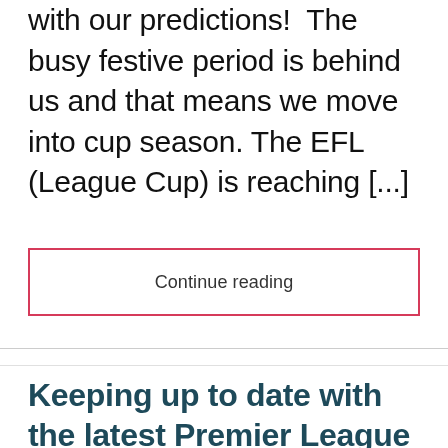with our predictions!  The busy festive period is behind us and that means we move into cup season. The EFL (League Cup) is reaching [...]
Continue reading
Keeping up to date with the latest Premier League action